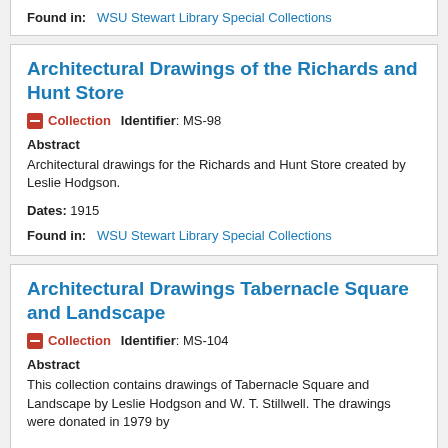Found in: WSU Stewart Library Special Collections
Architectural Drawings of the Richards and Hunt Store
Collection   Identifier: MS-98
Abstract
Architectural drawings for the Richards and Hunt Store created by Leslie Hodgson.
Dates: 1915
Found in: WSU Stewart Library Special Collections
Architectural Drawings Tabernacle Square and Landscape
Collection   Identifier: MS-104
Abstract
This collection contains drawings of Tabernacle Square and Landscape by Leslie Hodgson and W. T. Stillwell. The drawings were donated in 1979 by